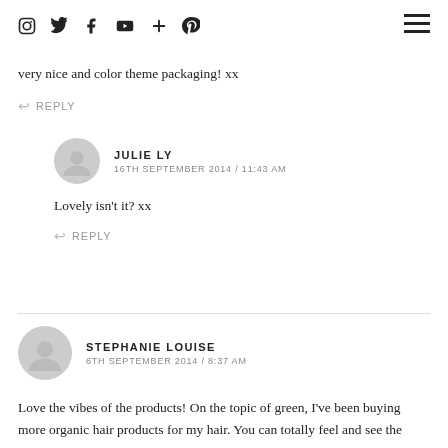social icons and hamburger menu
very nice and color theme packaging! xx
REPLY
JULIE LY
16TH SEPTEMBER 2014 / 11:43 AM
Lovely isn't it? xx
REPLY
STEPHANIE LOUISE
6TH SEPTEMBER 2014 / 8:37 AM
Love the vibes of the products! On the topic of green, I've been buying more organic hair products for my hair. You can totally feel and see the